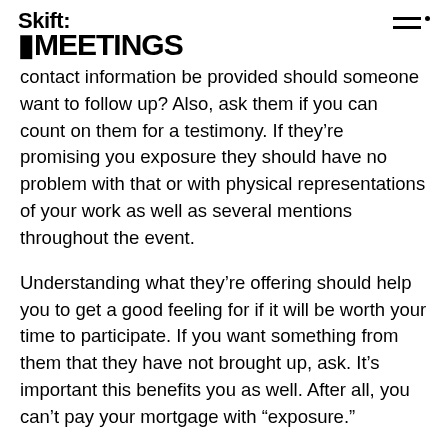Skift MEETINGS
contact information be provided should someone want to follow up? Also, ask them if you can count on them for a testimony. If they’re promising you exposure they should have no problem with that or with physical representations of your work as well as several mentions throughout the event.
Understanding what they’re offering should help you to get a good feeling for if it will be worth your time to participate. If you want something from them that they have not brought up, ask. It’s important this benefits you as well. After all, you can’t pay your mortgage with “exposure.”